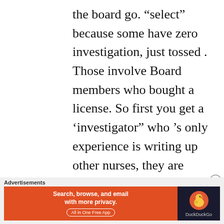the board go. “select” because some have zero investigation, just tossed . Those involve Board members who bought a license. So first you get a ‘investigator” who ’s only experience is writing up other nurses, they are usually quite good at this . 2nd comes the prosecutors misconduct . Sorting through the most damaging, true or not , the
[Figure (screenshot): DuckDuckGo advertisement banner with orange left panel reading 'Search, browse, and email with more privacy. All in One Free App' and dark right panel showing DuckDuckGo logo]